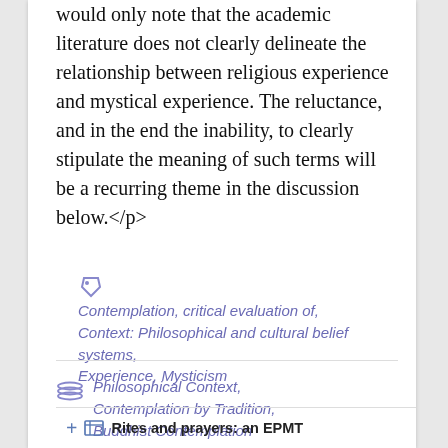would only note that the academic literature does not clearly delineate the relationship between religious experience and mystical experience. The reluctance, and in the end the inability, to clearly stipulate the meaning of such terms will be a recurring theme in the discussion below.</p>
Contemplation, critical evaluation of,
Context: Philosophical and cultural belief systems,
Experience, Mysticism
Philosophical Context, Contemplation by Tradition, Buddhist Contemplation
Rites and prayers: an EPMT